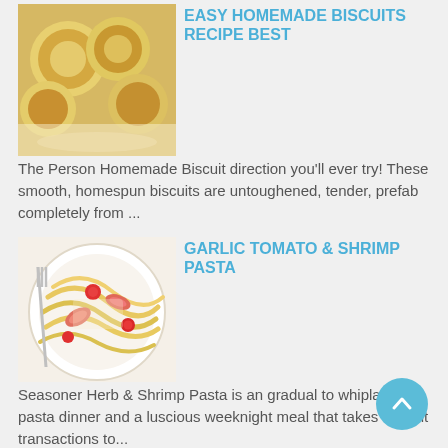EASY HOMEMADE BISCUITS RECIPE BEST
The Person Homemade Biscuit direction you'll ever try! These smooth, homespun biscuits are untoughened, tender, prefab completely from ...
GARLIC TOMATO & SHRIMP PASTA
Seasoner Herb & Shrimp Pasta is an gradual to whiplash up pasta dinner and a luscious weeknight meal that takes upright transactions to...
Recipes Archive
December 2019 (14)
November 2019 (55)
October 2019 (41)
September 2019 (6)